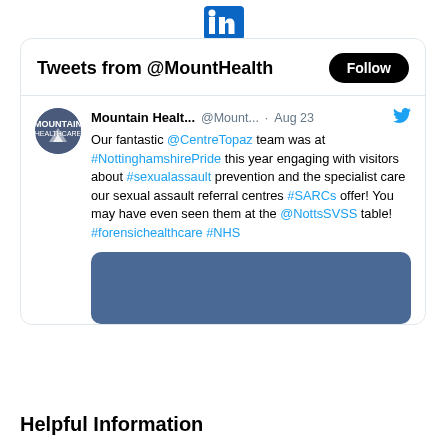[Figure (logo): LinkedIn icon / logo at top center of page]
[Figure (screenshot): Twitter widget card showing 'Tweets from @MountHealth' header with Follow button, and a tweet from Mountain Healthcare account dated Aug 23 about @CentreTopaz team at #NottinghamshirePride engaging visitors about #sexualassault prevention and SARC services, with hashtags #forensichealthcare #NHS, followed by a blue image preview]
Helpful Information